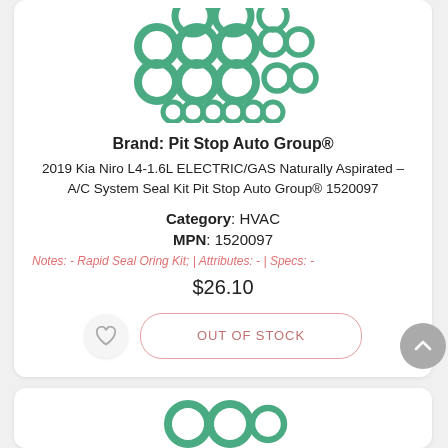[Figure (illustration): Green O-rings product image showing multiple rings of various sizes arranged in a grid pattern]
Brand: Pit Stop Auto Group®
2019 Kia Niro L4-1.6L ELECTRIC/GAS Naturally Aspirated – A/C System Seal Kit Pit Stop Auto Group® 1520097
Category: HVAC
MPN: 1520097
Notes: - Rapid Seal Oring Kit; | Attributes: - | Specs: -
$26.10
OUT OF STOCK